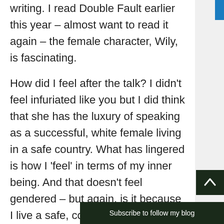writing. I read Double Fault earlier this year – almost want to read it again – the female character, Wily, is fascinating.
How did I feel after the talk? I didn't feel infuriated like you but I did think that she has the luxury of speaking as a successful, white female living in a safe country. What has lingered is how I 'feel' in terms of my inner being. And that doesn't feel gendered – but again, is it because I live a safe, comfortable life? W
Subscribe to follow my blog